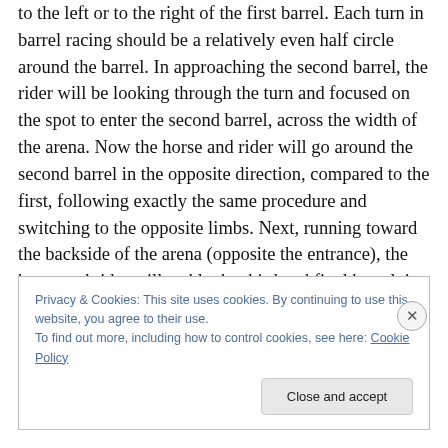to the left or to the right of the first barrel. Each turn in barrel racing should be a relatively even half circle around the barrel. In approaching the second barrel, the rider will be looking through the turn and focused on the spot to enter the second barrel, across the width of the arena. Now the horse and rider will go around the second barrel in the opposite direction, compared to the first, following exactly the same procedure and switching to the opposite limbs. Next, running toward the backside of the arena (opposite the entrance), the horse and rider will tackle the third and final barrel, in the same direction as the second
Privacy & Cookies: This site uses cookies. By continuing to use this website, you agree to their use.
To find out more, including how to control cookies, see here: Cookie Policy
Close and accept